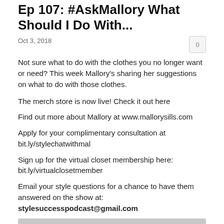Ep 107: #AskMallory What Should I Do With...
Oct 3, 2018
Not sure what to do with the clothes you no longer want or need? This week Mallory's sharing her suggestions on what to do with those clothes.
The merch store is now live! Check it out here
Find out more about Mallory at www.mallorysills.com
Apply for your complimentary consultation at bit.ly/stylechatwithmal
Sign up for the virtual closet membership here: bit.ly/virtualclosetmember
Email your style questions for a chance to have them answered on the show at: stylesuccesspodcast@gmail.com
[Figure (other): Libsyn audio player widget showing episode 'Ep 107: #AskMallory What Should I Do With Clothes I No ...' with play button, progress bar, and time 00:00:00]
Download this Episode
Ep 106: How to Look Expensive
Sep 18, 2018
Want to look expensive? Or elevate your style? This week Mallory's